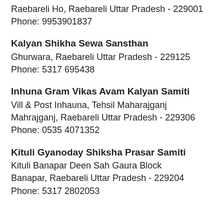Raebareli Ho, Raebareli Uttar Pradesh - 229001
Phone: 9953901837
Kalyan Shikha Sewa Sansthan
Ghurwara, Raebareli Uttar Pradesh - 229125
Phone: 5317 695438
Inhuna Gram Vikas Avam Kalyan Samiti
Vill & Post Inhauna, Tehsil Maharajganj
Mahrajganj, Raebareli Uttar Pradesh - 229306
Phone: 0535 4071352
Kituli Gyanoday Shiksha Prasar Samiti
Kituli Banapar Deen Sah Gaura Block
Banapar, Raebareli Uttar Pradesh - 229204
Phone: 5317 2802053